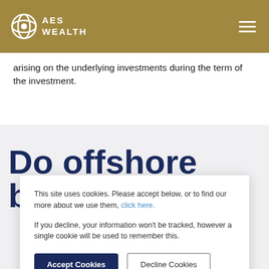AES WEALTH
arising on the underlying investments during the term of the investment.
Do offshore bonds
This site uses cookies. Please accept below, or to find our more about we use them, click here.

If you decline, your information won't be tracked, however a single cookie will be used to remember this.
Accept Cookies | Decline Cookies